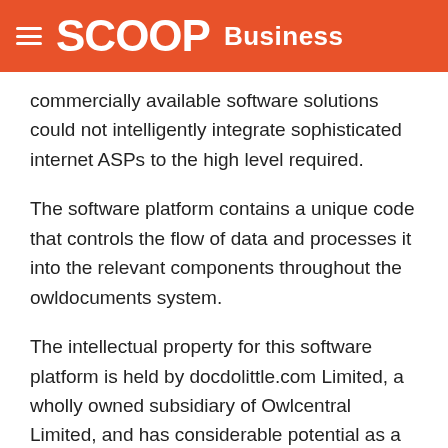SCOOP Business
commercially available software solutions could not intelligently integrate sophisticated internet ASPs to the high level required.
The software platform contains a unique code that controls the flow of data and processes it into the relevant components throughout the owldocuments system.
The intellectual property for this software platform is held by docdolittle.com Limited, a wholly owned subsidiary of Owlcentral Limited, and has considerable potential as a stand alone package.